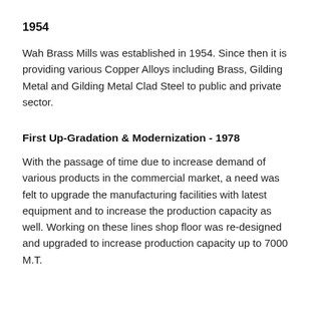1954
Wah Brass Mills was established in 1954. Since then it is providing various Copper Alloys including Brass, Gilding Metal and Gilding Metal Clad Steel to public and private sector.
First Up-Gradation & Modernization - 1978
With the passage of time due to increase demand of various products in the commercial market, a need was felt to upgrade the manufacturing facilities with latest equipment and to increase the production capacity as well. Working on these lines shop floor was re-designed and upgraded to increase production capacity up to 7000 M.T.